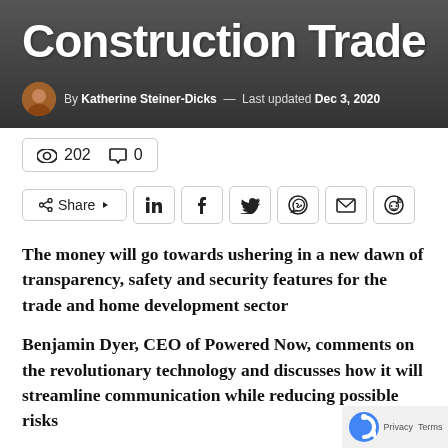Construction Trade
By Katherine Steiner-Dicks — Last updated Dec 3, 2020
👁 202  💬 0
Share  in  f  t  WhatsApp  Email  Reddit
The money will go towards ushering in a new dawn of transparency, safety and security features for the trade and home development sector
Benjamin Dyer, CEO of Powered Now, comments on the revolutionary technology and discusses how it will streamline communication while reducing possible risks
Powered Now, a UK-based mobile-based b… invoicing and quotation application for tr…